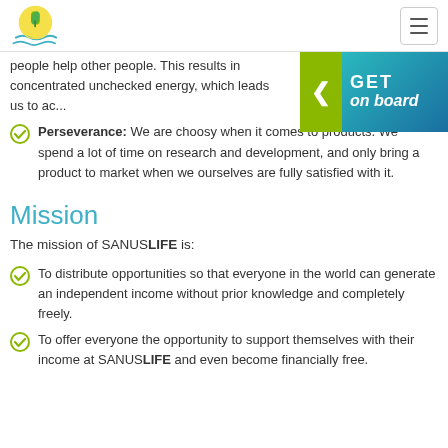SANUSLIFE logo and navigation
people help other people. This results in concentrated unchecked energy, which leads us to ac...
Perseverance: We are choosy when it come to products. We spend a lot of time on research and development, and only bring a product to market when we ourselves are fully satisfied with it.
[Figure (other): GET on board promotional banner overlay with green arrow button and teal/blue gradient background]
Mission
The mission of SANUSLIFE is:
To distribute opportunities so that everyone in the world can generate an independent income without prior knowledge and completely freely.
To offer everyone the opportunity to support themselves with their income at SANUSLIFE and even become financially free.